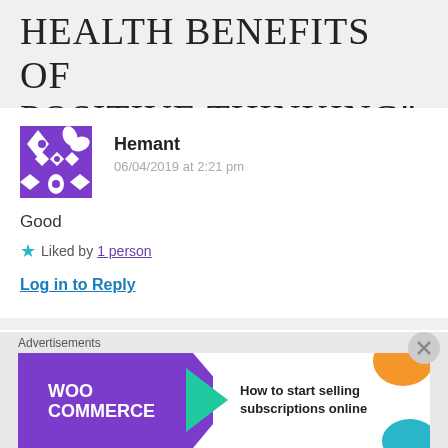HEALTH BENEFITS OF POSITIVE THINKING”
[Figure (illustration): Purple geometric avatar for user Hemant]
Hemant
06/04/2019 at 2:21 pm
Good
★ Liked by 1 person
Log in to Reply
[Figure (illustration): Teal geometric avatar for Anonymous user]
Anonymous
Advertisements
[Figure (other): WooCommerce advertisement banner: How to start selling subscriptions online]